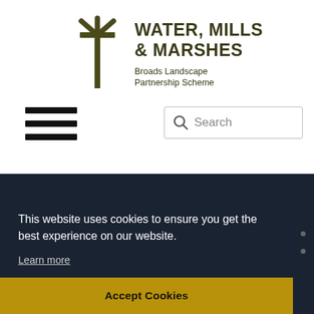[Figure (logo): Water, Mills & Marshes - Broads Landscape Partnership Scheme logo with a stylized trident/pitchfork symbol in dark olive green and bold text]
[Figure (other): Hamburger menu icon: three horizontal black bars]
[Figure (other): Search box with magnifying glass icon and placeholder text 'Search']
This website uses cookies to ensure you get the best experience on our website.
Learn more
Accept Cookies